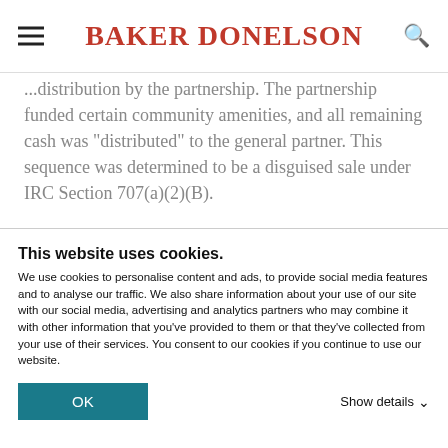BAKER DONELSON
...distribution by the partnership. The partnership funded certain community amenities, and all remaining cash was "distributed" to the general partner. This sequence was determined to be a disguised sale under IRC Section 707(a)(2)(B).
"Gross valuation misstatement" penalties of 40% of the tax liabilities were imposed for claiming the ...
This website uses cookies.
We use cookies to personalise content and ads, to provide social media features and to analyse our traffic. We also share information about your use of our site with our social media, advertising and analytics partners who may combine it with other information that you've provided to them or that they've collected from your use of their services. You consent to our cookies if you continue to use our website.